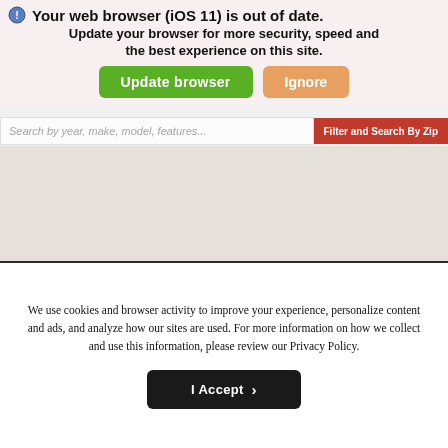[Figure (screenshot): Browser out-of-date warning banner overlaying a car dealership website. Shows warning icon, bold text 'Your web browser (iOS 11) is out of date. Update your browser for more security, speed and the best experience on this site.' with green 'Update browser' button and orange 'Ignore' button.]
Search by year, make, model, features...
Filter and Search By Zip
We use cookies and browser activity to improve your experience, personalize content and ads, and analyze how our sites are used. For more information on how we collect and use this information, please review our Privacy Policy.
I Accept